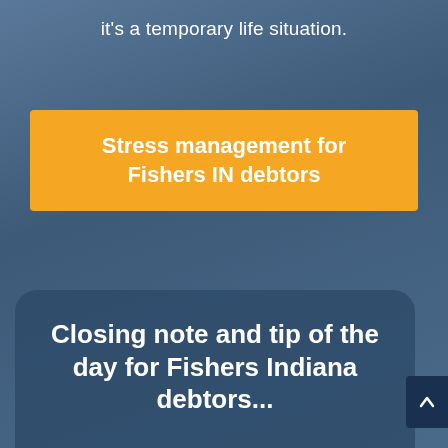it's a temporary life situation.
Stress management for Fishers IN debtors
Closing note and tip of the day for Fishers Indiana debtors...
Fishers, IN
Sun Today Tue Wed Thu Fri
71F